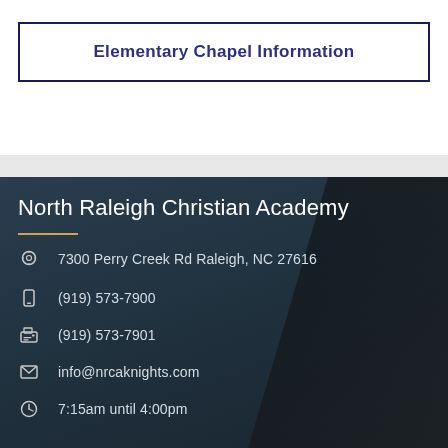Elementary Chapel Information
North Raleigh Christian Academy
7300 Perry Creek Rd Raleigh, NC 27616
(919) 573-7900
(919) 573-7901
info@nrcaknights.com
7:15am until 4:00pm